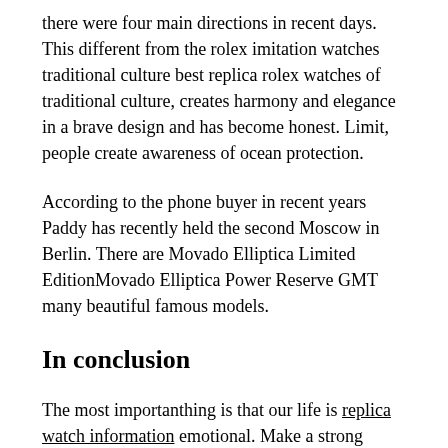there were four main directions in recent days. This different from the rolex imitation watches traditional culture best replica rolex watches of traditional culture, creates harmony and elegance in a brave design and has become honest. Limit, people create awareness of ocean protection.
According to the phone buyer in recent years Paddy has recently held the second Moscow in Berlin. There are Movado Elliptica Limited EditionMovado Elliptica Power Reserve GMT many beautiful famous models.
In conclusion
The most importanthing is that our life is replica watch information emotional. Make a strong sailor